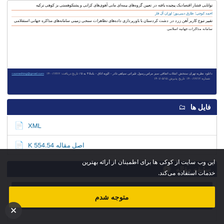[Figure (screenshot): Article preview card with Persian text showing article titles, authors, and a dark blue footer bar with contact/link info]
فایل ها
XML
اصل مقاله 554.54 K
سابقه مقاله
این وب سایت از کوکی ها برای اطمینان از ارائه بهترین خدمات استفاده می کند.
متوجه شدم